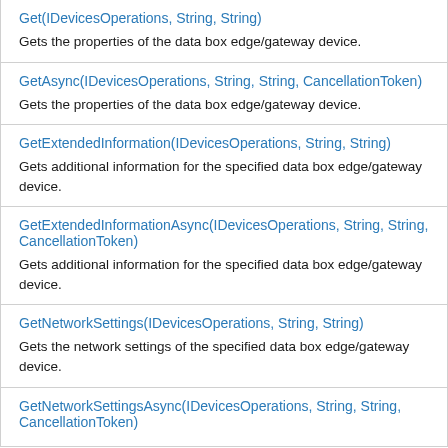| Get(IDevicesOperations, String, String) | Gets the properties of the data box edge/gateway device. |
| GetAsync(IDevicesOperations, String, String, CancellationToken) | Gets the properties of the data box edge/gateway device. |
| GetExtendedInformation(IDevicesOperations, String, String) | Gets additional information for the specified data box edge/gateway device. |
| GetExtendedInformationAsync(IDevicesOperations, String, String, CancellationToken) | Gets additional information for the specified data box edge/gateway device. |
| GetNetworkSettings(IDevicesOperations, String, String) | Gets the network settings of the specified data box edge/gateway device. |
| GetNetworkSettingsAsync(IDevicesOperations, String, String, CancellationToken) |  |